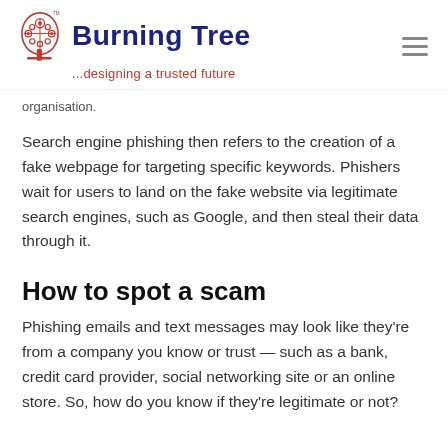Burning Tree ...designing a trusted future
organisation.
Search engine phishing then refers to the creation of a fake webpage for targeting specific keywords. Phishers wait for users to land on the fake website via legitimate search engines, such as Google, and then steal their data through it.
How to spot a scam
Phishing emails and text messages may look like they're from a company you know or trust — such as a bank, credit card provider, social networking site or an online store. So, how do you know if they're legitimate or not?